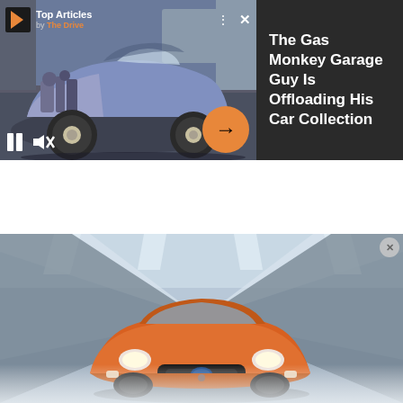[Figure (screenshot): Top ad unit showing a purple custom hot rod car (Gas Monkey Garage) in a video thumbnail on the left with playback controls, and a dark panel on the right with headline text. Includes 'Top Articles by The Drive' branding with orange logo.]
Top Articles
by The Drive
The Gas Monkey Garage Guy Is Offloading His Car Collection
[Figure (photo): Orange Ford Fiesta ST car speeding through a tunnel with motion blur background in blue-grey tones. A small circular close button (×) appears in the upper right corner and a progress dot appears near the bottom center.]